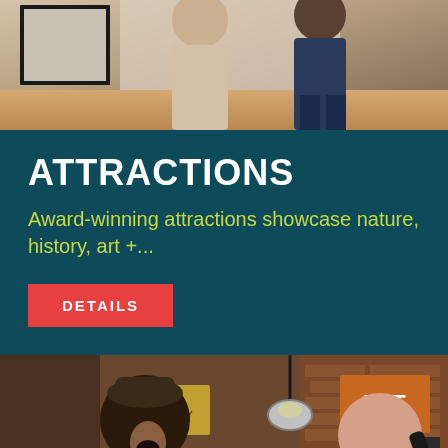[Figure (photo): Two people standing in what appears to be a gallery or museum space, partial view cropped at top]
ATTRACTIONS
Award-winning attractions showcase nature, history, art +...
DETAILS
[Figure (photo): Two women laughing in what appears to be a vintage shop or attraction space with signs and brick walls]
Cookies are used for measurement, ads and optimization. By continuing to use our site you agree to our privacy policy.
Accept